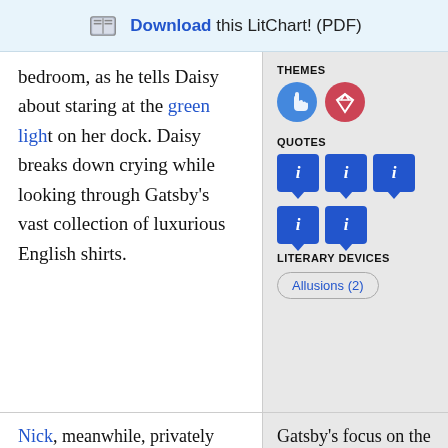Download this LitChart! (PDF)
bedroom, as he tells Daisy about staring at the green light on her dock. Daisy breaks down crying while looking through Gatsby's vast collection of luxurious English shirts.
THEMES
[Figure (infographic): Two circular theme icons: blue circle with pointer/hand icon, red circle with diamond icon]
QUOTES
[Figure (infographic): Five blue speech bubble icons with italic i, arranged in two rows (3 + 2)]
LITERARY DEVICES
Allusions (2)
Nick, meanwhile, privately wonders how Daisy can possibly fulfill Gatsby's idealized vision of her. Nick
Gatsby's focus on the past prevents him from seeing how Daisy has changed. In fact, it prevents him from